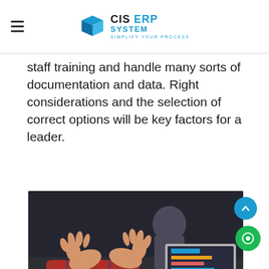CIS ERP SYSTEM — Simplify Your Process
staff training and handle many sorts of documentation and data. Right considerations and the selection of correct options will be key factors for a leader.
[Figure (photo): A person in a plaid shirt gestures with both hands during a meeting at a table with an open laptop and a smartphone, with another person blurred in the background.]